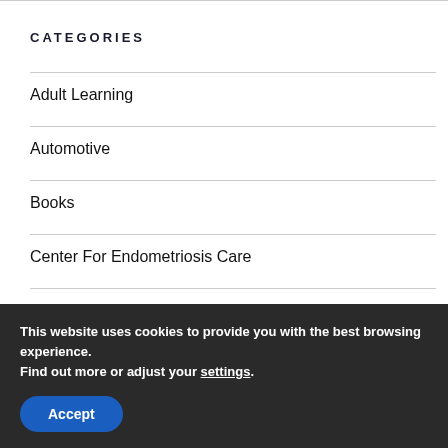CATEGORIES
Adult Learning
Automotive
Books
Center For Endometriosis Care
Christian Womanhood
Education
This website uses cookies to provide you with the best browsing experience. Find out more or adjust your settings.